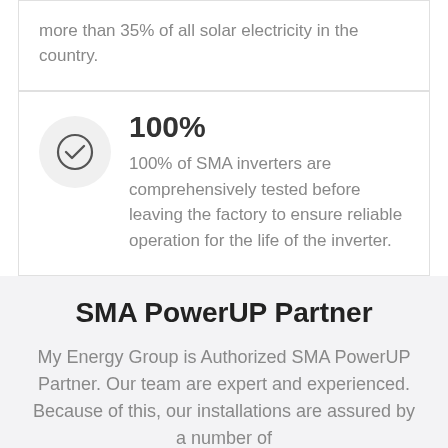more than 35% of all solar electricity in the country.
100%
100% of SMA inverters are comprehensively tested before leaving the factory to ensure reliable operation for the life of the inverter.
SMA PowerUP Partner
My Energy Group is Authorized SMA PowerUP Partner. Our team are expert and experienced. Because of this, our installations are assured by a number of